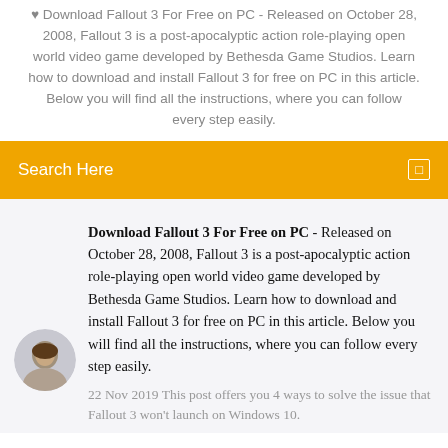Download Fallout 3 For Free on PC - Released on October 28, 2008, Fallout 3 is a post-apocalyptic action role-playing open world video game developed by Bethesda Game Studios. Learn how to download and install Fallout 3 for free on PC in this article. Below you will find all the instructions, where you can follow every step easily.
Search Here
Download Fallout 3 For Free on PC - Released on October 28, 2008, Fallout 3 is a post-apocalyptic action role-playing open world video game developed by Bethesda Game Studios. Learn how to download and install Fallout 3 for free on PC in this article. Below you will find all the instructions, where you can follow every step easily.
22 Nov 2019 This post offers you 4 ways to solve the issue that Fallout 3 won't launch on Windows 10.